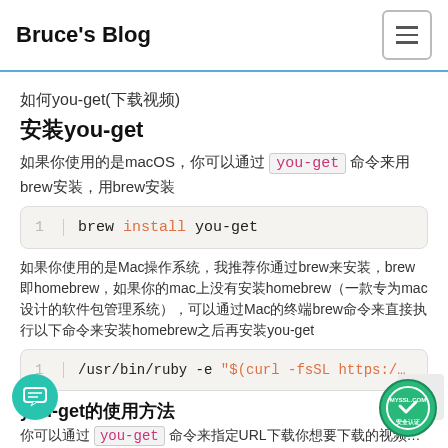Bruce's Blog
如何you-get(下载视频)
安装you-get
如果你使用的是macOS，你可以通过 you-get 命令来用brew安装，用brew安装
brew install you-get
如果你使用的是Mac操作系统，我推荐你通过brew来安装，brew即homebrew，如果你的mac上没有安装homebrew（一款专为mac设计的软件包管理系统），可以通过Mac的终端brew命令来直接执行以下命令来安装homebrew之后再安装you-get
/usr/bin/ruby -e "$(curl -fsSL https:/...
you-get的使用方法
你可以通过 you-get 命令来指定URL下载你想要下载的视频